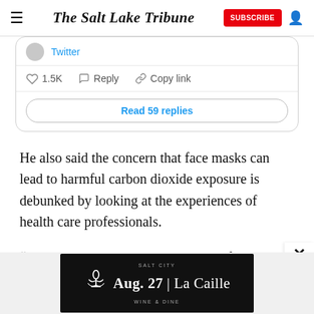The Salt Lake Tribune
[Figure (screenshot): Embedded tweet showing Twitter source link, heart icon with 1.5K likes, reply icon, copy link option, and 'Read 59 replies' button.]
He also said the concern that face masks can lead to harmful carbon dioxide exposure is debunked by looking at the experiences of health care professionals.
“Surgeons at my own center who perform very
[Figure (other): Salt City Wine & Dine advertisement: Aug. 27 | La Caille]